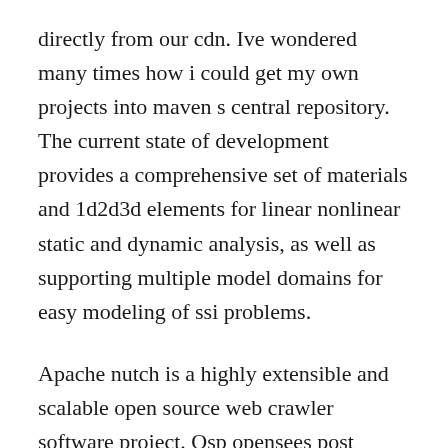directly from our cdn. Ive wondered many times how i could get my own projects into maven s central repository. The current state of development provides a comprehensive set of materials and 1d2d3d elements for linear nonlinear static and dynamic analysis, as well as supporting multiple model domains for easy modeling of ssi problems.
Apache nutch is a highly extensible and scalable open source web crawler software project. Osp opensees post processor free download windows version. It is always a